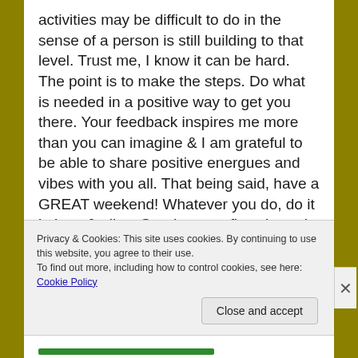activities may be difficult to do in the sense of a person is still building to that level. Trust me, I know it can be hard. The point is to make the steps. Do what is needed in a positive way to get you there. Your feedback inspires me more than you can imagine & I am grateful to be able to share positive energues and vibes with you all. That being said, have a GREAT weekend! Whatever you do, do it in love & allow Goodness to flow through each expeirence you have. I love you all! Love yourself & be yourself. Peace & Love ♡ ☆ – peacefulprojectblog.wordpress.com
Privacy & Cookies: This site uses cookies. By continuing to use this website, you agree to their use. To find out more, including how to control cookies, see here: Cookie Policy
Close and accept